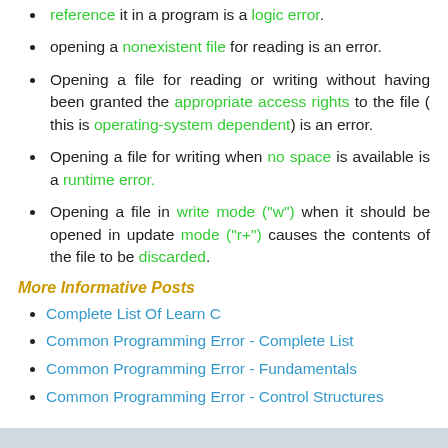reference it in a program is a logic error.
opening a nonexistent file for reading is an error.
Opening a file for reading or writing without having been granted the appropriate access rights to the file ( this is operating-system dependent) is an error.
Opening a file for writing when no space is available is a runtime error.
Opening a file in write mode ("w") when it should be opened in update mode ("r+") causes the contents of the file to be discarded.
More Informative Posts
Complete List Of Learn C
Common Programming Error - Complete List
Common Programming Error - Fundamentals
Common Programming Error - Control Structures